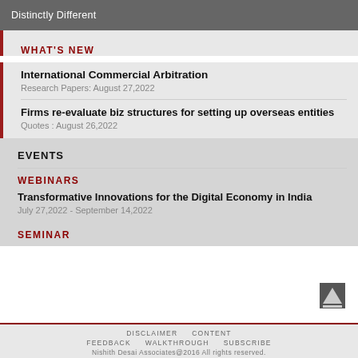Distinctly Different
WHAT'S NEW
International Commercial Arbitration
Research Papers: August 27,2022
Firms re-evaluate biz structures for setting up overseas entities
Quotes : August 26,2022
EVENTS
WEBINARS
Transformative Innovations for the Digital Economy in India
July 27,2022 - September 14,2022
SEMINAR
DISCLAIMER   CONTENT   FEEDBACK   WALKTHROUGH   SUBSCRIBE   Nishith Desai Associates@2016 All rights reserved.